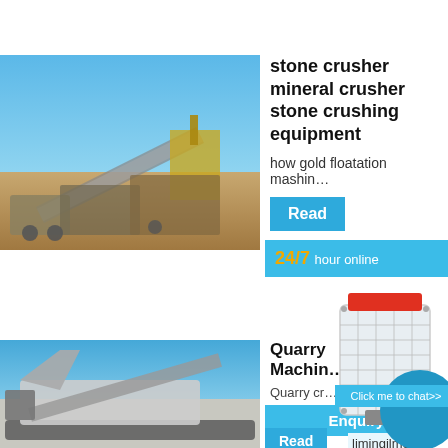[Figure (photo): Outdoor mining/stone crushing plant with conveyor belts and machinery under blue sky]
stone crusher mineral crusher stone crushing equipment
how gold floatation mashin...
Read
[Figure (infographic): 24/7 hour online overlay card with crusher machine image, blue circle, and Click me to chat button]
[Figure (photo): Mobile quarry crusher machine on site under blue sky]
Quarry Machin...
Quarry cr...
Enquiry
Read
limingjlmofen